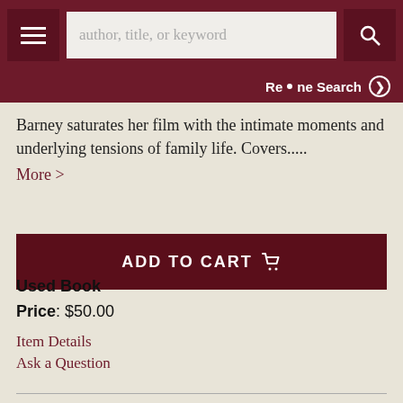[Figure (screenshot): Website navigation header with hamburger menu, search bar with placeholder 'author, title, or keyword', and search button on dark red background]
Re·ne Search ▶
Barney saturates her film with the intimate moments and underlying tensions of family life. Covers.....
More >
ADD TO CART 🛒
Used Book
Price: $50.00
Item Details
Ask a Question